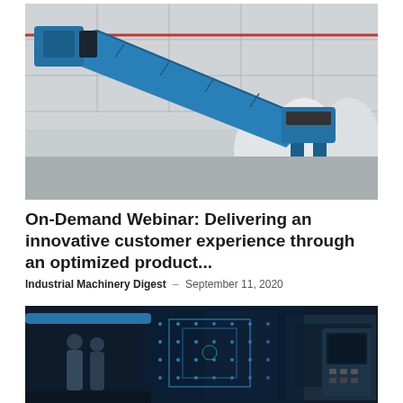[Figure (photo): Blue industrial robotic arm in a warehouse/factory setting with shelving/ceiling structure in background]
On-Demand Webinar: Delivering an innovative customer experience through an optimized product...
Industrial Machinery Digest – September 11, 2020
[Figure (photo): Two people standing in a factory with blue digital/holographic overlay showing industrial machinery and control panel]